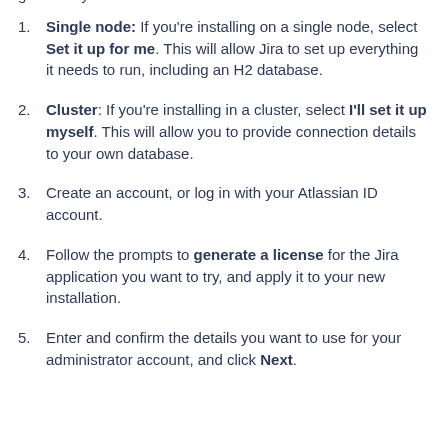generate your evaluation license.
Single node: If you're installing on a single node, select Set it up for me. This will allow Jira to set up everything it needs to run, including an H2 database.
Cluster: If you're installing in a cluster, select I'll set it up myself. This will allow you to provide connection details to your own database.
Create an account, or log in with your Atlassian ID account.
Follow the prompts to generate a license for the Jira application you want to try, and apply it to your new installation.
Enter and confirm the details you want to use for your administrator account, and click Next.